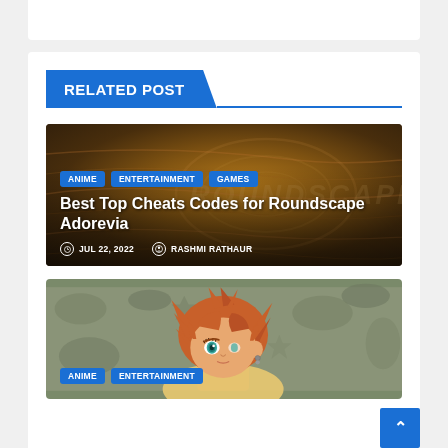RELATED POST
[Figure (photo): Dark wooden background image for Roundscape Adorevia cheats post with watermark text 'ROUNDSCAPE']
Best Top Cheats Codes for Roundscape Adorevia
JUL 22, 2022  RASHMI RATHAUR
[Figure (illustration): Anime character illustration for a second related post, showing an anime character with orange/brown hair and teal eyes on a grey-green background]